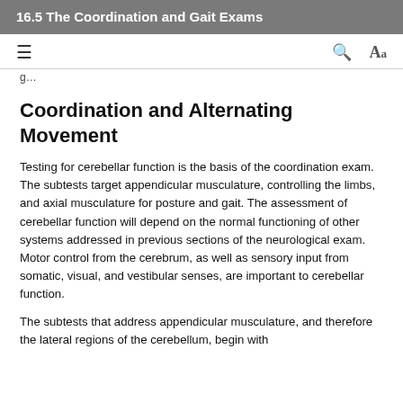16.5 The Coordination and Gait Exams
Coordination and Alternating Movement
Testing for cerebellar function is the basis of the coordination exam. The subtests target appendicular musculature, controlling the limbs, and axial musculature for posture and gait. The assessment of cerebellar function will depend on the normal functioning of other systems addressed in previous sections of the neurological exam. Motor control from the cerebrum, as well as sensory input from somatic, visual, and vestibular senses, are important to cerebellar function.
The subtests that address appendicular musculature, and therefore the lateral regions of the cerebellum, begin with